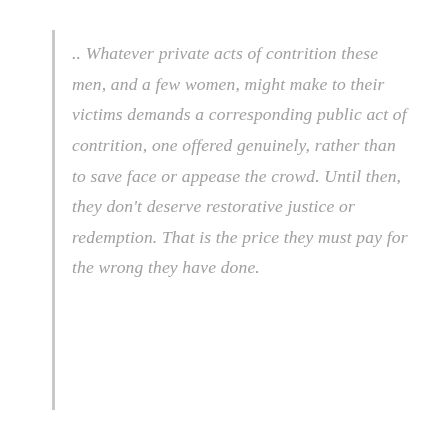.. Whatever private acts of contrition these men, and a few women, might make to their victims demands a corresponding public act of contrition, one offered genuinely, rather than to save face or appease the crowd. Until then, they don't deserve restorative justice or redemption. That is the price they must pay for the wrong they have done.